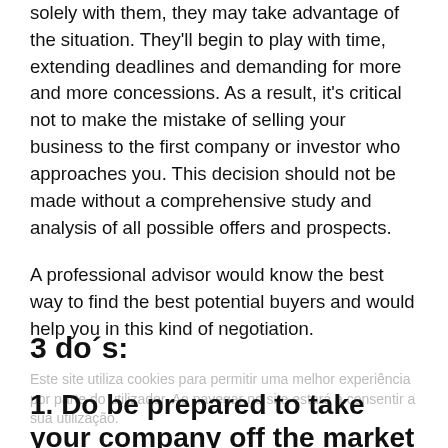solely with them, they may take advantage of the situation. They'll begin to play with time, extending deadlines and demanding for more and more concessions. As a result, it's critical not to make the mistake of selling your business to the first company or investor who approaches you. This decision should not be made without a comprehensive study and analysis of all possible offers and prospects.
A professional advisor would know the best way to find the best potential buyers and would help you in this kind of negotiation.
3 do´s:
Este site utiliza cookies para permitir uma melhor experiência por parte do utilizador. Ao navegar no site estará a consentir a sua utilização.
1. Do be prepared to take your company off the market and professionalize